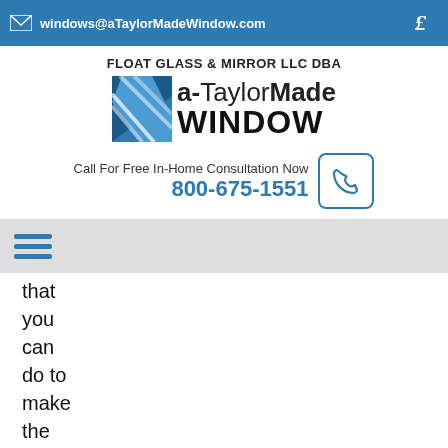windows@aTaylorMadeWindow.com
FLOAT GLASS & MIRROR LLC DBA a-TaylorMade WINDOW
Call For Free In-Home Consultation Now 800-675-1551
that you can do to make the process a bit easier, however, and this